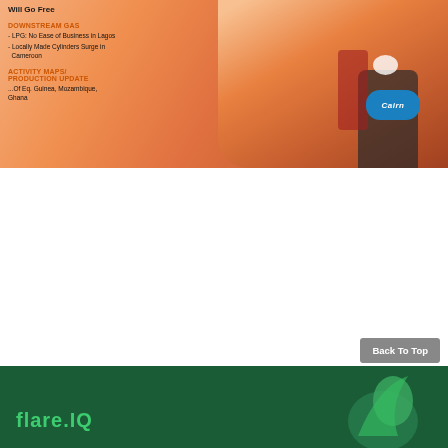[Figure (photo): Magazine cover or partial page showing a person in an orange Cairn Energy jacket/vest, with overlay text listing article topics: downstream gas, LPG business in Lagos, locally made cylinders in Cameroon, activity maps/production update for Eq. Guinea, Mozambique, Ghana.]
Will Go Free
DOWNSTREAM GAS
- LPG: No Ease of Business in Lagos
- Locally Made Cylinders Surge in Cameroon
ACTIVITY MAPS/ PRODUCTION UPDATE
...Of Eq. Guinea, Mozambique, Ghana
[Figure (logo): flare.IQ logo in green on dark green banner at the bottom of the page]
Back To Top